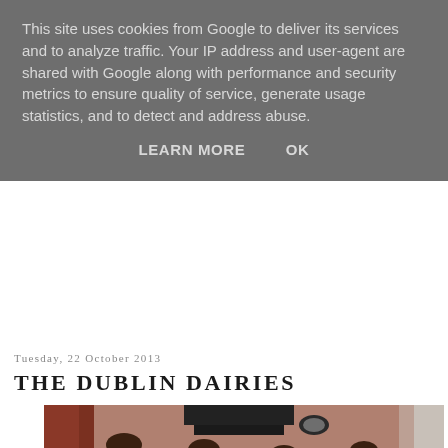This site uses cookies from Google to deliver its services and to analyze traffic. Your IP address and user-agent are shared with Google along with performance and security metrics to ensure quality of service, generate usage statistics, and to detect and address abuse.
LEARN MORE    OK
Tuesday, 22 October 2013
THE DUBLIN DAIRIES
[Figure (photo): Close-up photo of a person wearing a leopard print top, showing the fabric pattern in brown and black spots]